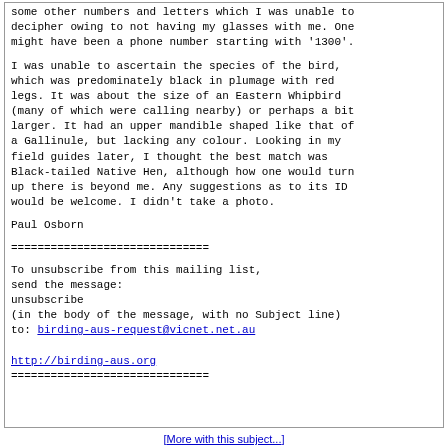some other numbers and letters which I was unable to decipher owing to not having my glasses with me. One might have been a phone number starting with '1300'.

I was unable to ascertain the species of the bird, which was predominately black in plumage with red legs. It was about the size of an Eastern Whipbird (many of which were calling nearby) or perhaps a bit larger. It had an upper mandible shaped like that of a Gallinule, but lacking any colour. Looking in my field guides later, I thought the best match was Black-tailed Native Hen, although how one would turn up there is beyond me. Any suggestions as to its ID would be welcome. I didn't take a photo.

Paul Osborn

==============================

To unsubscribe from this mailing list,
send the message:
unsubscribe
(in the body of the message, with no Subject line)
to: birding-aus-request@vicnet.net.au

http://birding-aus.org
==============================
[More with this subject...]